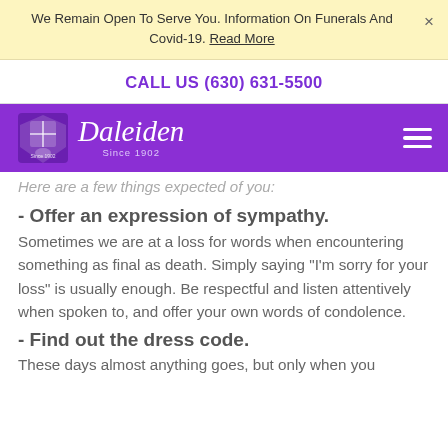We Remain Open To Serve You. Information On Funerals And Covid-19. Read More
CALL US (630) 631-5500
[Figure (logo): Daleiden funeral home logo with shield crest and text 'Daleiden Since 1902' on purple navigation bar with hamburger menu icon]
Here are a few things expected of you:
- Offer an expression of sympathy. Sometimes we are at a loss for words when encountering something as final as death. Simply saying "I'm sorry for your loss" is usually enough. Be respectful and listen attentively when spoken to, and offer your own words of condolence.
- Find out the dress code. These days almost anything goes, but only when you